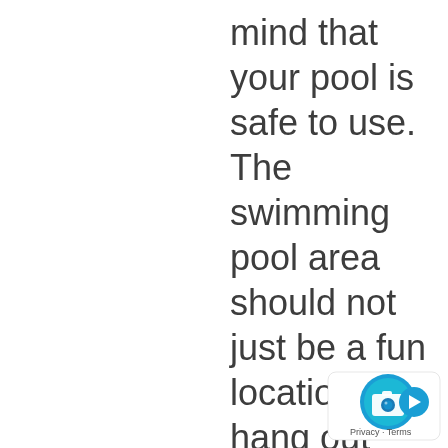mind that your pool is safe to use. The swimming pool area should not just be a fun location to hang out with family and friends and relish the summer months by being out on the water but also should be a safe area with appropriate fence and latches so that no one
[Figure (logo): Google Maps / Street View camera icon badge with Privacy - Terms label]